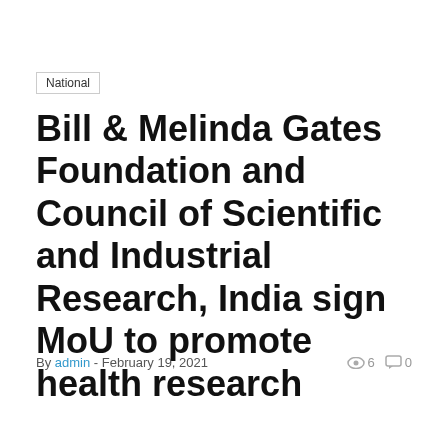National
Bill & Melinda Gates Foundation and Council of Scientific and Industrial Research, India sign MoU to promote health research
By admin - February 19, 2021  👁 6  💬 0